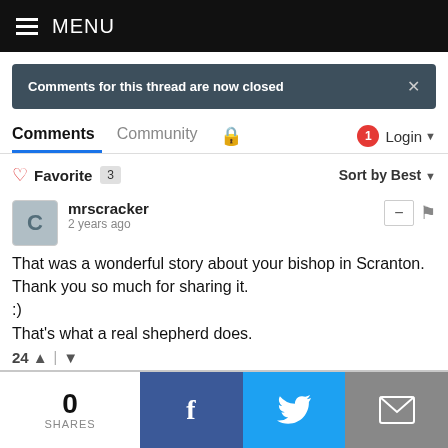MENU
Comments for this thread are now closed
Comments  Community  Login
Favorite 3  Sort by Best
mrscracker
2 years ago

That was a wonderful story about your bishop in Scranton. Thank you so much for sharing it.
:)
That's what a real shepherd does.

24
0 SHARES